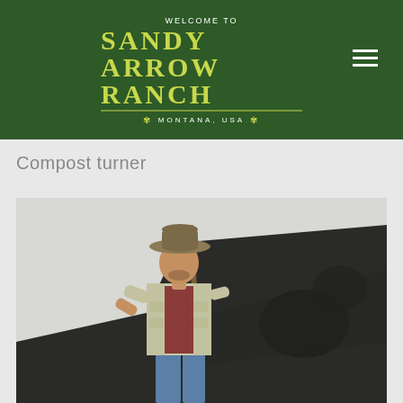WELCOME TO / SANDY ARROW RANCH / MONTANA, USA
Compost turner
[Figure (photo): A man wearing a cowboy hat, plaid shirt, and cargo vest stands in front of a large pile of dark compost, holding a shovel handle behind him. Montana ranch setting.]